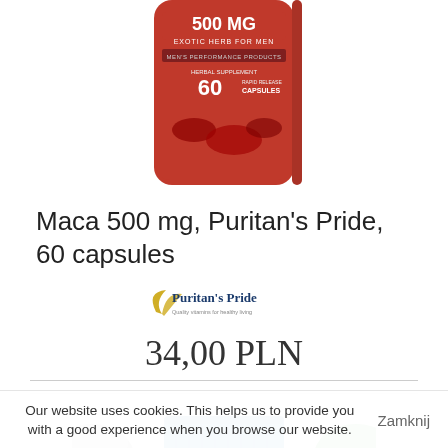[Figure (photo): Partial top view of a red Puritan's Pride Maca 500 mg supplement bottle, 60 rapid release capsules, Exotic Herb for Men]
Maca 500 mg, Puritan's Pride, 60 capsules
[Figure (logo): Puritan's Pride brand logo with tagline]
34,00 PLN
[Figure (photo): Partial view of a blue supplement bottle cap and two partially visible product thumbnails]
Our website uses cookies. This helps us to provide you with a good experience when you browse our website.
Zamknij